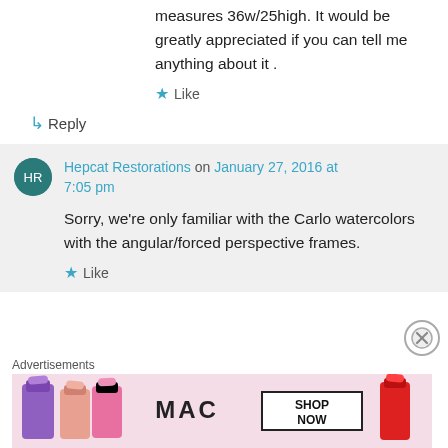measures 36w/25high. It would be greatly appreciated if you can tell me anything about it .
★ Like
↳ Reply
Hepcat Restorations on January 27, 2016 at 7:05 pm
Sorry, we're only familiar with the Carlo watercolors with the angular/forced perspective frames.
★ Like
Advertisements
[Figure (photo): MAC cosmetics advertisement showing lipsticks with SHOP NOW text]